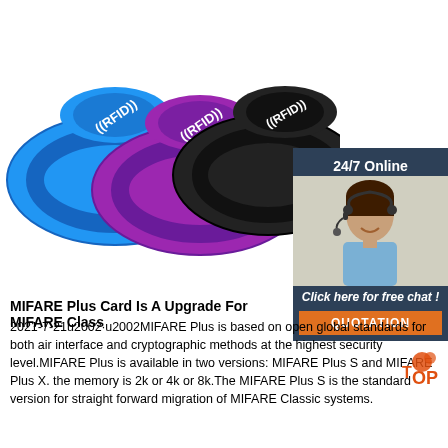[Figure (photo): Three RFID silicone wristbands in blue, purple, and black colors stacked/fanned out showing the RFID logo on each band]
[Figure (photo): Customer support representative with headset, 24/7 Online badge, Click here for free chat text, and QUOTATION orange button]
MIFARE Plus Card Is A Upgrade For MIFARE Class
2021-7-21u2002·u2002MIFARE Plus is based on open global standards for both air interface and cryptographic methods at the highest security level.MIFARE Plus is available in two versions: MIFARE Plus S and MIFARE Plus X. the memory is 2k or 4k or 8k.The MIFARE Plus S is the standard version for straight forward migration of MIFARE Classic systems.